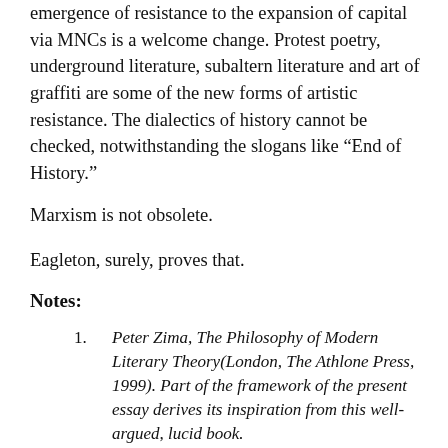emergence of resistance to the expansion of capital via MNCs is a welcome change. Protest poetry, underground literature, subaltern literature and art of graffiti are some of the new forms of artistic resistance. The dialectics of history cannot be checked, notwithstanding the slogans like “End of History.”
Marxism is not obsolete.
Eagleton, surely, proves that.
Notes:
Peter Zima, The Philosophy of Modern Literary Theory(London, The Athlone Press, 1999). Part of the framework of the present essay derives its inspiration from this well-argued, lucid book.
Ibid., p.3